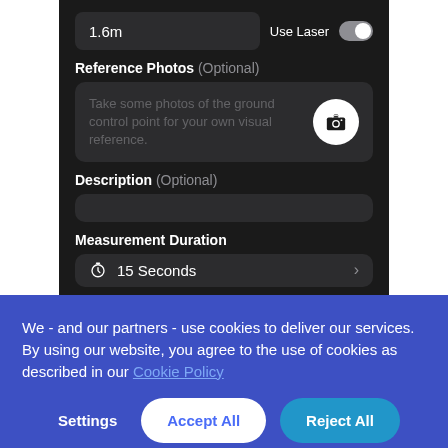[Figure (screenshot): Mobile app UI screenshot showing: a distance input field with value '1.6m', a 'Use Laser' toggle switch (off), a 'Reference Photos (Optional)' section with a dark box containing placeholder text 'Take some photos of the ground control point for your own visual reference.' and a camera button, a 'Description (Optional)' empty text input, and a 'Measurement Duration' selector showing '15 Seconds' with a chevron arrow.]
We - and our partners - use cookies to deliver our services. By using our website, you agree to the use of cookies as described in our Cookie Policy
Settings
Accept All
Reject All